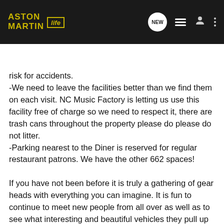Aston Martin Life — NEW — navigation bar with search
risk for accidents.
-We need to leave the facilities better than we find them on each visit. NC Music Factory is letting us use this facility free of charge so we need to respect it, there are trash cans throughout the property please do please do not litter.
-Parking nearest to the Diner is reserved for regular restaurant patrons. We have the other 662 spaces!

If you have not been before it is truly a gathering of gear heads with everything you can imagine. It is fun to continue to meet new people from all over as well as to see what interesting and beautiful vehicles they pull up in. Please if you know friends and family that would enjoy this event and would like to bring their cherished rides out, please do. Come out and enjoy and continue to spread the word. We are getting more and more interesting vehicles from classics, to groups, to muscle and one